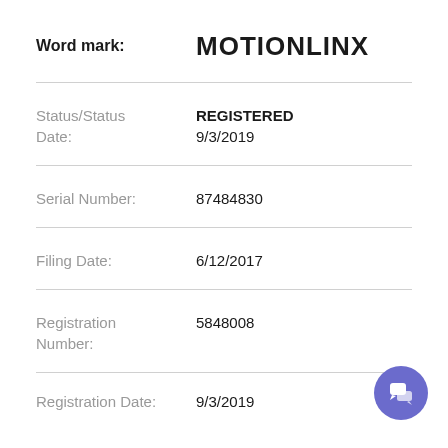Word mark: MOTIONLINX
Status/Status Date: REGISTERED 9/3/2019
Serial Number: 87484830
Filing Date: 6/12/2017
Registration Number: 5848008
Registration Date: 9/3/2019